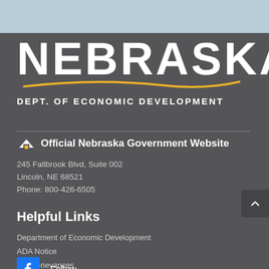[Figure (logo): Nebraska state logo with large white NEBRASKA text, gold swoosh arc beneath, and subtitle DEPT. OF ECONOMIC DEVELOPMENT]
Official Nebraska Government Website
245 Fallbrook Blvd, Suite 002
Lincoln, NE 68521
Phone: 800-426-6505
Helpful Links
Department of Economic Development
ADA Notice
ADA Grievances
Follow